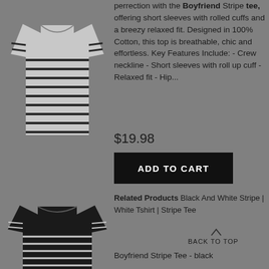[Figure (photo): Gray and black striped short-sleeve boyfriend tee shirt, top portion visible]
perrection with the Boyfriend Stripe tee, offering short sleeves with rolled cuffs and a breezy relaxed fit. Designed in 100% Cotton, this top is breathable, chic and effortless. Key Features Include: - Crew neckline - Short sleeves with roll up cuff - Relaxed fit - Hip...
$19.98
ADD TO CART
Related Products Black And White Stripe | White Tshirt | Stripe Tee
BACK TO TOP
[Figure (photo): Black and white striped long-sleeve boyfriend tee shirt, top portion visible]
Boyfriend Stripe Tee - black